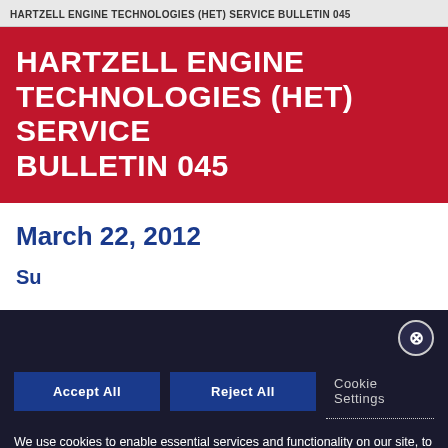HARTZELL ENGINE TECHNOLOGIES (HET) SERVICE BULLETIN 045
HARTZELL ENGINE TECHNOLOGIES (HET) SERVICE BULLETIN 045
March 22, 2012
We use cookies to enable essential services and functionality on our site, to enhance your browsing experience, to provide a better service through personalized content, and to collect data on how visitors interact with our site. To accept the use of all cookies, click "Accept all". To reject the use of all cookies, click "Reject all". You can customize your cookie preferences by clicking "Cookie Settings". For more information about our use of cookies and to opt-out of cookies at any time, please refer to our website Legal & Privacy Statement.